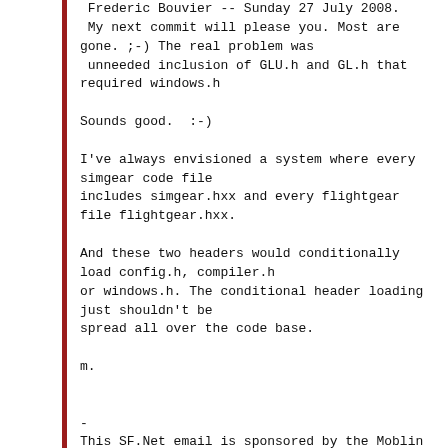Frederic Bouvier -- Sunday 27 July 2008.
 My next commit will please you. Most are gone. ;-) The real problem was
 unneeded inclusion of GLU.h and GL.h that required windows.h

Sounds good.  :-)

I've always envisioned a system where every simgear code file includes simgear.hxx and every flightgear file flightgear.hxx.

And these two headers would conditionally load config.h, compiler.h or windows.h. The conditional header loading just shouldn't be spread all over the code base.

m.


-
This SF.Net email is sponsored by the Moblin
You May Dev and shall...